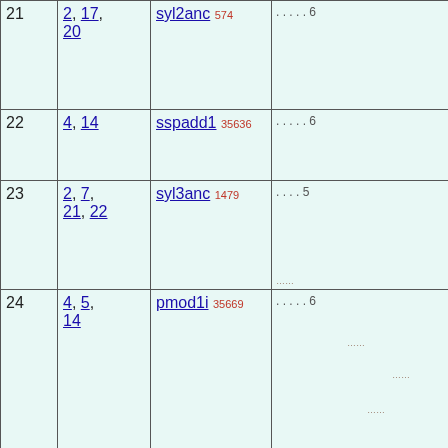| # | Parents | Name / ID | Tree |
| --- | --- | --- | --- |
| 21 | 2, 17, 20 | syl2anc 574 | . . . . . 6 |
| 22 | 4, 14 | sspadd1 35636 | . . . . . 6 |
| 23 | 2, 7, 21, 22 | syl3anc 1479 | . . . . 5 |
| 24 | 4, 5, 14 | pmod1i 35669 | . . . . . 6 |
| 25 | 24 | 3impia 1112 | . . . . 5 |
| 26 | 2, 7, 16, 19, 23, 25 | syl131anc 1492 | . . . 4 |
| 27 |  |  | . . ? |